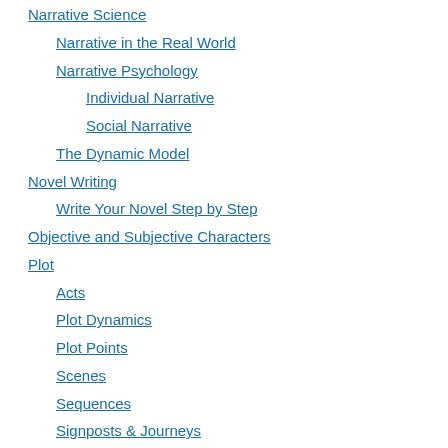Narrative Science
Narrative in the Real World
Narrative Psychology
Individual Narrative
Social Narrative
The Dynamic Model
Novel Writing
Write Your Novel Step by Step
Objective and Subjective Characters
Plot
Acts
Plot Dynamics
Plot Points
Scenes
Sequences
Signposts & Journeys
Practical Tips
Quick Tips
Screenwriting